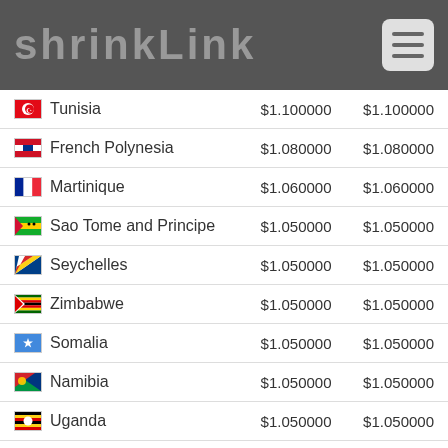shrinkLink
| Country | Col1 | Col2 |
| --- | --- | --- |
| Tunisia | $1.100000 | $1.100000 |
| French Polynesia | $1.080000 | $1.080000 |
| Martinique | $1.060000 | $1.060000 |
| Sao Tome and Principe | $1.050000 | $1.050000 |
| Seychelles | $1.050000 | $1.050000 |
| Zimbabwe | $1.050000 | $1.050000 |
| Somalia | $1.050000 | $1.050000 |
| Namibia | $1.050000 | $1.050000 |
| Uganda | $1.050000 | $1.050000 |
| San Marino | $1.050000 | $1.050000 |